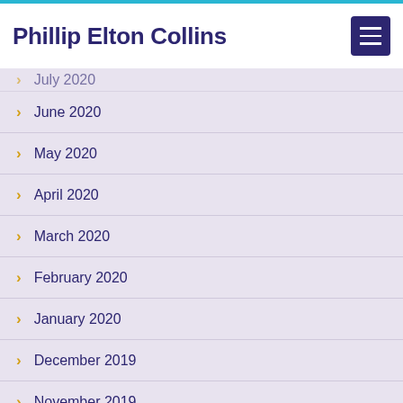Phillip Elton Collins
July 2020
June 2020
May 2020
April 2020
March 2020
February 2020
January 2020
December 2019
November 2019
October 2019